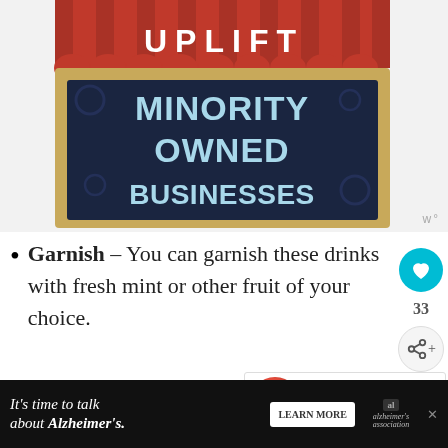[Figure (illustration): A store-front style sign with a red awning reading 'UPLIFT' and a dark navy chalkboard sign reading 'MINORITY OWNED BUSINESSES' in light blue text. Decorative tan/gold frame.]
Garnish – You can garnish these drinks with fresh mint or other fruit of your choice.
[Figure (other): What's Next panel: thumbnail image of a strawberry, label 'WHAT'S NEXT →', text 'Fruit Dip Without...']
[Figure (other): Advertisement banner: 'It's time to talk about Alzheimer's.' with Learn More button and Alzheimer's Association logo.]